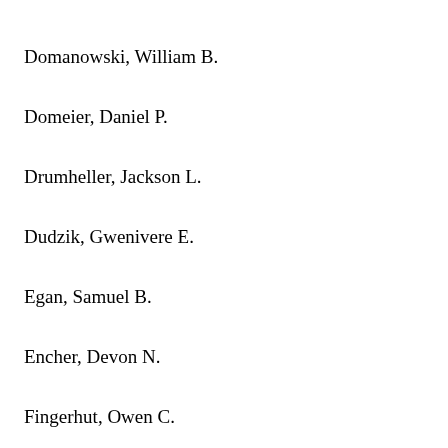Domanowski, William B.
Domeier, Daniel P.
Drumheller, Jackson L.
Dudzik, Gwenivere E.
Egan, Samuel B.
Encher, Devon N.
Fingerhut, Owen C.